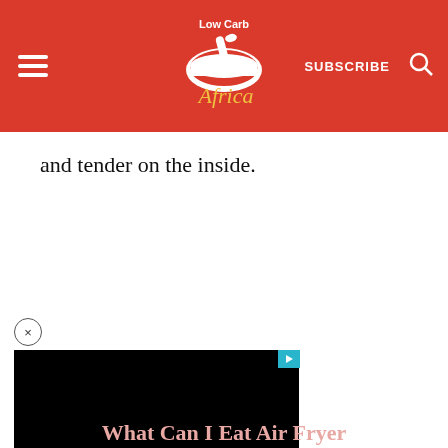Low Carb Africa — SUBSCRIBE
and tender on the inside.
[Figure (screenshot): Black video player rectangle with a teal/cyan play button badge in the top-right corner, and a circular close (×) button above the video]
What Can I Eat Air Fryer